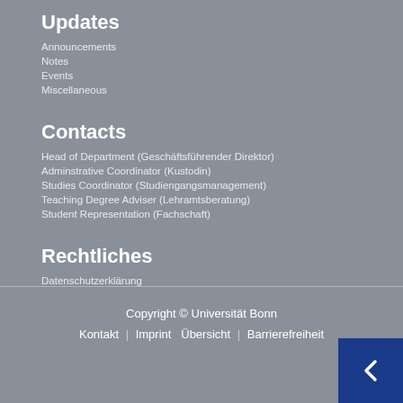Updates
Announcements
Notes
Events
Miscellaneous
Contacts
Head of Department (Geschäftsführender Direktor)
Adminstrative Coordinator (Kustodin)
Studies Coordinator (Studiengangsmanagement)
Teaching Degree Adviser (Lehramtsberatung)
Student Representation (Fachschaft)
Rechtliches
Datenschutzerklärung
Copyright © Universität Bonn
Kontakt | Imprint Übersicht | Barrierefreiheit